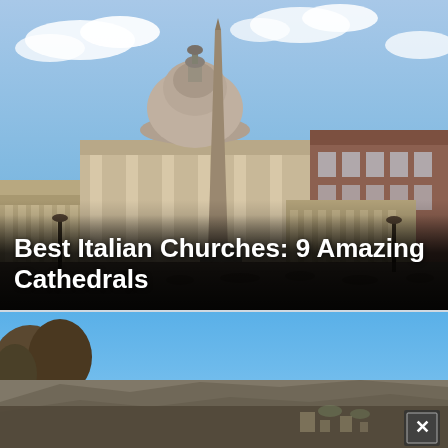[Figure (photo): St. Peter's Basilica in Vatican City with obelisk in the foreground, blue sky with clouds, crowds of people visible at the base]
Best Italian Churches: 9 Amazing Cathedrals
[Figure (photo): Outdoor landscape photo showing bright blue sky, trees and rocky hillside terrain, partially overlaid with another image at the bottom showing a dimly lit rocky/stone surface and distant landscape]